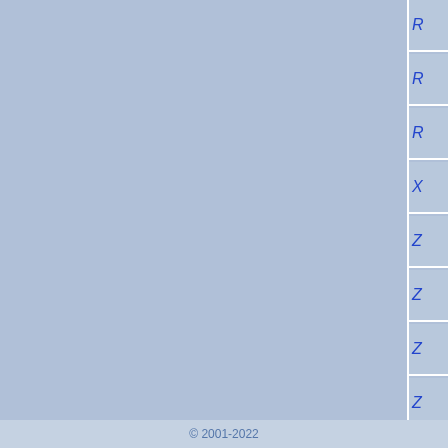| Label | Value |
| --- | --- |
|  | R... |
|  | R... |
|  | R... |
|  | X... |
|  | Z... |
|  | Z... |
|  | Z... |
|  | Z... |
| Predicted Primers | PC...
(F)
(R)

Se...
(F)
(R) |
| Posted On | 20... |
© 2001-2022